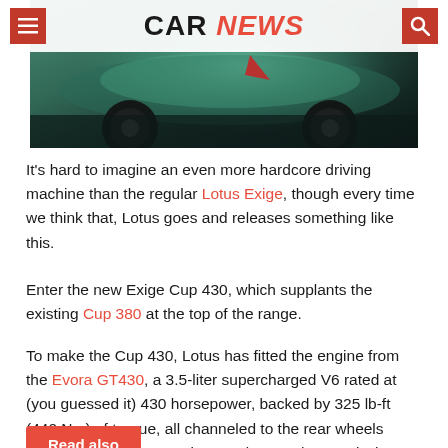CAR NEWS
[Figure (photo): Sports car (Lotus Exige Cup 430) low angle shot showing teal/green body and black wheels on dark surface]
It's hard to imagine an even more hardcore driving machine than the regular Lotus Exige, though every time we think that, Lotus goes and releases something like this.
Enter the new Exige Cup 430, which supplants the existing Cup 380 at the top of the range.
To make the Cup 430, Lotus has fitted the engine from the Evora GT430, a 3.5-liter supercharged V6 rated at (you guessed it) 430 horsepower, backed by 325 lb-ft (440 Nm) of torque, all channeled to the rear wheels through an open-gate, six-speed manual transmission.
Read also